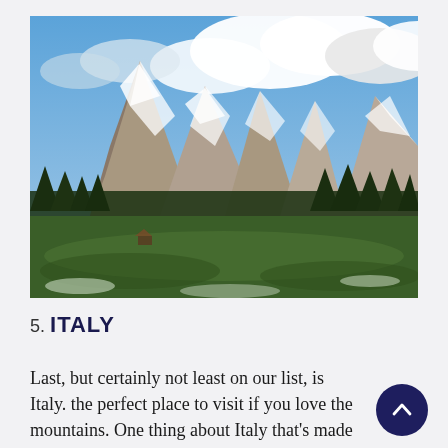[Figure (photo): Panoramic view of the Dolomites in Italy — jagged snow-capped rocky peaks rising behind a lush green alpine meadow with scattered dark evergreen trees, under a blue sky with large white clouds.]
5. ITALY
Last, but certainly not least on our list, is Italy. the perfect place to visit if you love the mountains. One thing about Italy that's made it so